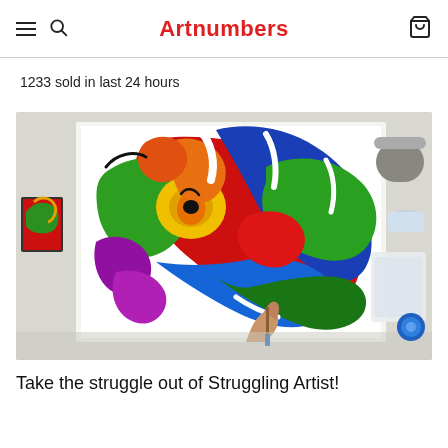Artnumbers
1233 sold in last 24 hours
[Figure (photo): A colorful abstract painting of a bird/eagle face with vibrant reds, blues, greens, yellows, and purples on a white canvas. A hand holding a paintbrush is visible at the bottom. The painting is photographed from above on a work surface with art supplies visible around the edges.]
Take the struggle out of Struggling Artist!